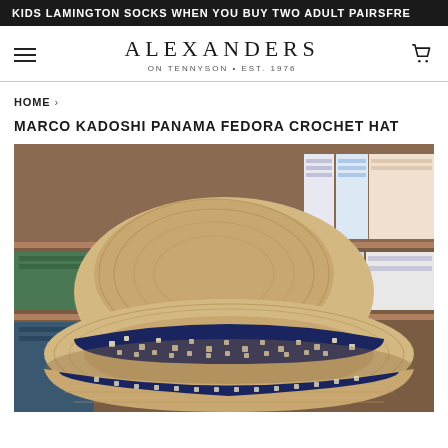KIDS LAMINGTON SOCKS WHEN YOU BUY TWO ADULT PAIRSFRE
[Figure (logo): Alexanders on Tennyson Est. 1976 brand logo with hamburger menu and cart icon]
HOME › MARCO KADOSHI PANAMA FEDORA CROCHET HAT
MARCO KADOSHI PANAMA FEDORA CROCHET HAT
[Figure (photo): Product photo of a tan/natural straw Panama fedora crochet hat with a dark navy band featuring white floral/geometric pattern, displayed in a clothing store with shelves of folded shirts visible in the background]